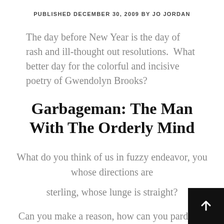PUBLISHED DECEMBER 30, 2009 BY JO JORDAN
The day before New Year is the day of rash and ill-thought out resolutions.  What better day for the colorful and incisive poetry of Gwendolyn Brooks?
Garbageman: The Man With The Orderly Mind
What do you think of us in fuzzy endeavor, you whose directions are
sterling, whose lunge is straight?
Can you make a reason, how can you pardon u who memorize the rules and never score?